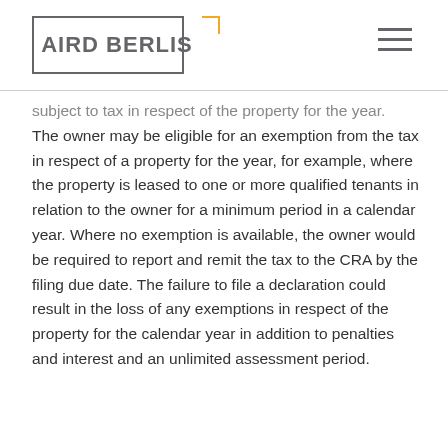AIRD BERLIS
subject to tax in respect of the property for the year. The owner may be eligible for an exemption from the tax in respect of a property for the year, for example, where the property is leased to one or more qualified tenants in relation to the owner for a minimum period in a calendar year. Where no exemption is available, the owner would be required to report and remit the tax to the CRA by the filing due date. The failure to file a declaration could result in the loss of any exemptions in respect of the property for the calendar year in addition to penalties and interest and an unlimited assessment period.